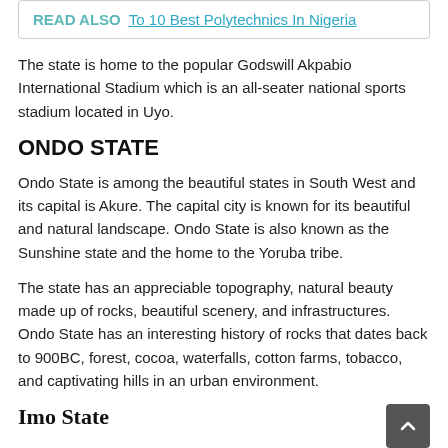READ ALSO   To 10 Best Polytechnics In Nigeria
The state is home to the popular Godswill Akpabio International Stadium which is an all-seater national sports stadium located in Uyo.
ONDO STATE
Ondo State is among the beautiful states in South West and its capital is Akure. The capital city is known for its beautiful and natural landscape. Ondo State is also known as the Sunshine state and the home to the Yoruba tribe.
The state has an appreciable topography, natural beauty made up of rocks, beautiful scenery, and infrastructures. Ondo State has an interesting history of rocks that dates back to 900BC, forest, cocoa, waterfalls, cotton farms, tobacco, and captivating hills in an urban environment.
Imo State